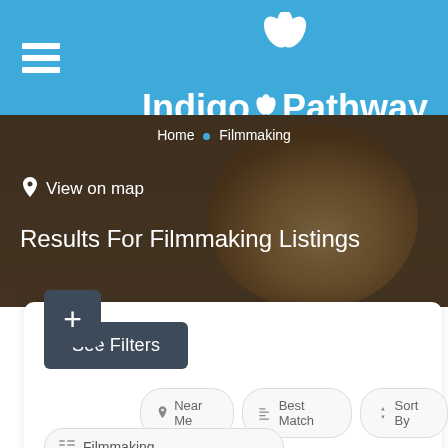Indigo Pathway
Home • Filmmaking
View on map
Results For Filmmaking Listings
See Filters
Near Me
Best Match
Sort By
+
Filmmaking